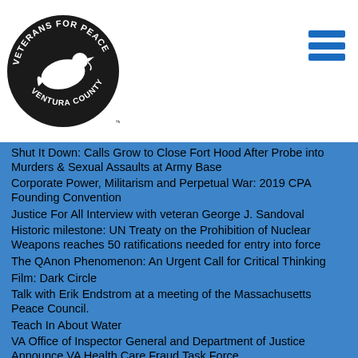[Figure (logo): Veterans for Peace Ventura County logo — black circular emblem with a dove in the center and text around the border reading VETERANS FOR PEACE and VENTURA COUNTY]
Shut It Down: Calls Grow to Close Fort Hood After Probe into Murders & Sexual Assaults at Army Base
Corporate Power, Militarism and Perpetual War: 2019 CPA Founding Convention
Justice For All Interview with veteran George J. Sandoval
Historic milestone: UN Treaty on the Prohibition of Nuclear Weapons reaches 50 ratifications needed for entry into force
The QAnon Phenomenon: An Urgent Call for Critical Thinking
Film: Dark Circle
Talk with Erik Endstrom at a meeting of the Massachusetts Peace Council.
Teach In About Water
VA Office of Inspector General and Department of Justice Announce VA Health Care Fraud Task Force